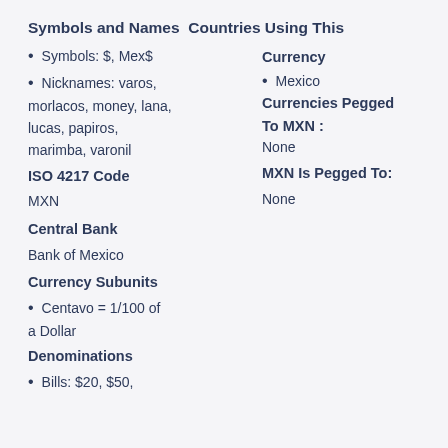Symbols and Names Countries Using This
Symbols: $, Mex$
Currency
Nicknames: varos, morlacos, money, lana, lucas, papiros, marimba, varonil
Mexico
Currencies Pegged To MXN :
ISO 4217 Code
None
MXN
MXN Is Pegged To:
None
Central Bank
Bank of Mexico
Currency Subunits
Centavo = 1/100 of a Dollar
Denominations
Bills: $20, $50,